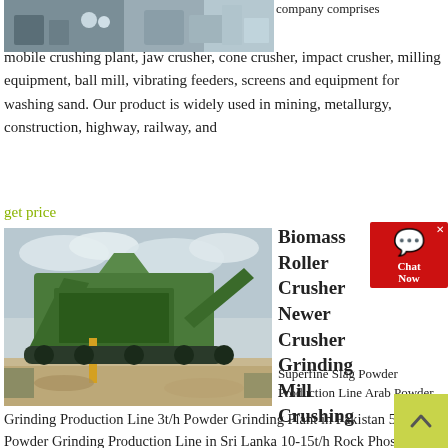[Figure (photo): Partial view of industrial/mining facility exterior, top of page]
company comprises mobile crushing plant, jaw crusher, cone crusher, impact crusher, milling equipment, ball mill, vibrating feeders, screens and equipment for washing sand. Our product is widely used in mining, metallurgy, construction, highway, railway, and
get price
[Figure (photo): Large green mobile crushing/screening plant machine outdoors on dirt ground with cloudy sky]
Biomass Roller Crusher Newer Crusher Grinding Mill Crushing
Superfine Slag Powder Production Line Arab Powder Grinding Production Line 3t/h Powder Grinding Plant in Pakistan 5-6t/h Powder Grinding Production Line in Sri Lanka 10-15t/h Rock Phosphate Grinding Plant in Turkey 10-15t/h Coke Grinding Mill in Philippines 10-12 t/h Silica Sand Grinding Plant in UAE 60t/h Iron Ore Micro Powder Mill in Egypt 5t